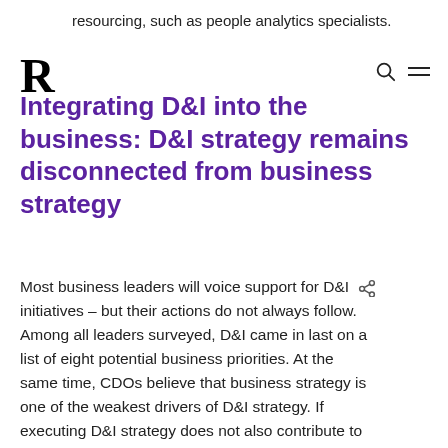resourcing, such as people analytics specialists.
Integrating D&I into the business: D&I strategy remains disconnected from business strategy
Most business leaders will voice support for D&I initiatives – but their actions do not always follow. Among all leaders surveyed, D&I came in last on a list of eight potential business priorities. At the same time, CDOs believe that business strategy is one of the weakest drivers of D&I strategy. If executing D&I strategy does not also contribute to business goals, CDOs understandably face an uphill battle in convincing business leaders to fully engage.